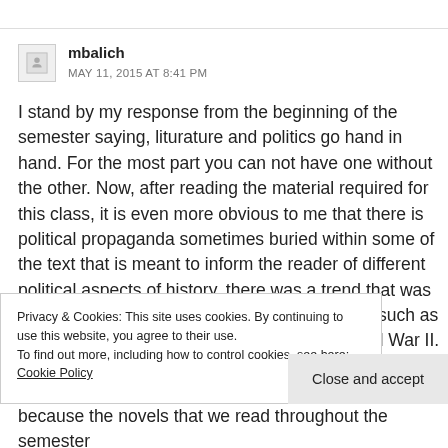mbalich
MAY 11, 2015 AT 8:41 PM
I stand by my response from the beginning of the semester saying, liturature and politics go hand in hand. For the most part you can not have one without the other. Now, after reading the material required for this class, it is even more obvious to me that there is political propaganda sometimes buried within some of the text that is meant to inform the reader of different political aspects of history. there was a trend that was noticed in the readings that we were assigned such as V for Vendetta had political references to World War II. Although it was a
Privacy & Cookies: This site uses cookies. By continuing to use this website, you agree to their use.
To find out more, including how to control cookies, see here: Cookie Policy
Close and accept
because the novels that we read throughout the semester